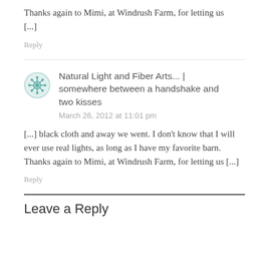Thanks again to Mimi, at Windrush Farm, for letting us [...]
Reply
Natural Light and Fiber Arts... | somewhere between a handshake and two kisses
March 26, 2012 at 11:01 pm
[...] black cloth and away we went. I don't know that I will ever use real lights, as long as I have my favorite barn. Thanks again to Mimi, at Windrush Farm, for letting us [...]
Reply
Leave a Reply